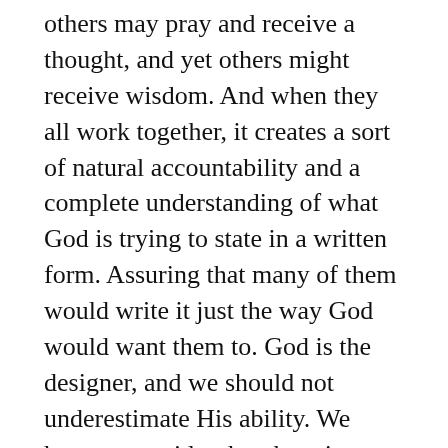others may pray and receive a thought, and yet others might receive wisdom. And when they all work together, it creates a sort of natural accountability and a complete understanding of what God is trying to state in a written form. Assuring that many of them would write it just the way God would want them to. God is the designer, and we should not underestimate His ability. We have to consider that there is a purpose to every design intent. God gave us the word of God not just so we hold to it by faith, but that there is every reason to hold to it as well. One of the issues I raise against Islam is precisely due to the lack of reason and trust in Muhammad's claims. There is no accountability, there is no one to vouch for his theology, he is a